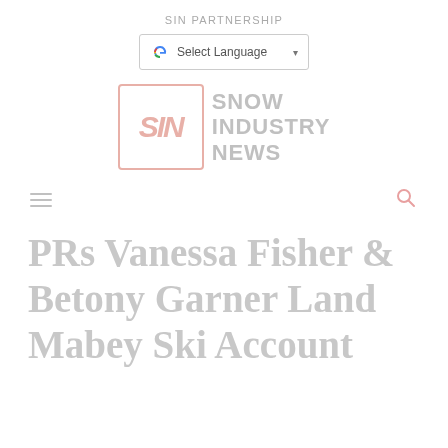SIN PARTNERSHIP
[Figure (screenshot): Google Translate widget showing 'Select Language' dropdown with Google G logo and dropdown arrow]
[Figure (logo): Snow Industry News (SIN) logo with stylized SIN letters in a box and SNOW INDUSTRY NEWS text to the right]
[Figure (screenshot): Navigation bar with hamburger menu icon on left and search (magnifying glass) icon on right]
PRs Vanessa Fisher & Betony Garner Land Mabey Ski Account